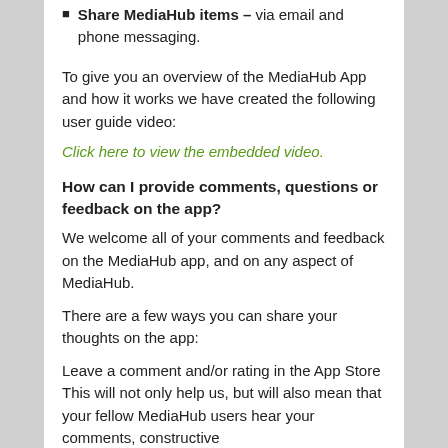Share MediaHub items – via email and phone messaging.
To give you an overview of the MediaHub App and how it works we have created the following user guide video:
Click here to view the embedded video.
How can I provide comments, questions or feedback on the app?
We welcome all of your comments and feedback on the MediaHub app, and on any aspect of MediaHub.
There are a few ways you can share your thoughts on the app:
Leave a comment and/or rating in the App Store
This will not only help us, but will also mean that your fellow MediaHub users hear your comments, constructive